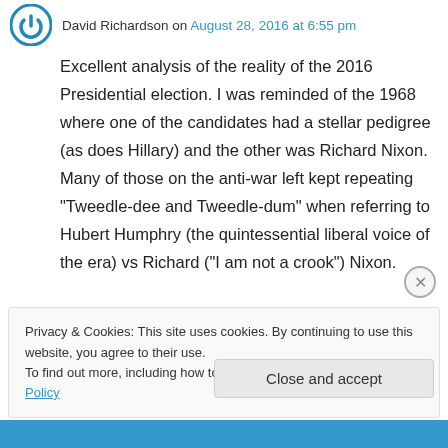David Richardson on August 28, 2016 at 6:55 pm
Excellent analysis of the reality of the 2016 Presidential election. I was reminded of the 1968 where one of the candidates had a stellar pedigree (as does Hillary) and the other was Richard Nixon. Many of those on the anti-war left kept repeating “Tweedle-dee and Tweedle-dum” when referring to Hubert Humphry (the quintessential liberal voice of the era) vs Richard (“I am not a crook”) Nixon.
Privacy & Cookies: This site uses cookies. By continuing to use this website, you agree to their use.
To find out more, including how to control cookies, see here: Cookie Policy
Close and accept